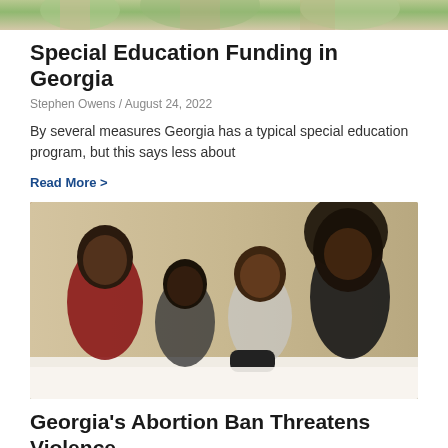[Figure (photo): Top portion of an image (cropped), appears to be people with plants]
Special Education Funding in Georgia
Stephen Owens / August 24, 2022
By several measures Georgia has a typical special education program, but this says less about
Read More >
[Figure (photo): A Black family of four — a man, woman, and two children — lying together watching TV, smiling]
Georgia's Abortion Ban Threatens Violence and Economic Insecurity for Black Wo...